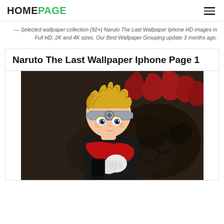HOMEPAGE
— Selected wallpaper collection (92+) Naruto The Last Wallpaper Iphone HD images in Full HD, 2K and 4K sizes. Our Best Wallpaper Grouping update 3 months ago.
Naruto The Last Wallpaper Iphone Page 1
[Figure (photo): Anime illustration of young Naruto character with blonde spiky hair, wearing a black outfit with red scarf and Konoha headband, posed in front of a dark swirling background with red claw/wing elements above]